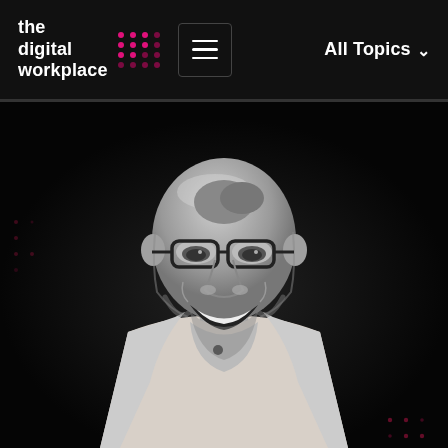the digital workplace — All Topics navigation header
[Figure (photo): Black and white photograph of a smiling bald man with glasses and a beard, wearing a light-colored button-up shirt with a lapel microphone, against a dark background with a decorative pink dot pattern.]